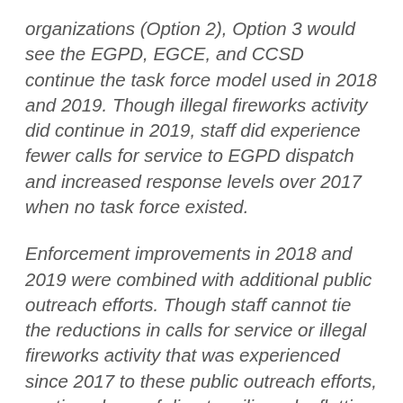organizations (Option 2), Option 3 would see the EGPD, EGCE, and CCSD continue the task force model used in 2018 and 2019. Though illegal fireworks activity did continue in 2019, staff did experience fewer calls for service to EGPD dispatch and increased response levels over 2017 when no task force existed.
Enforcement improvements in 2018 and 2019 were combined with additional public outreach efforts. Though staff cannot tie the reductions in calls for service or illegal fireworks activity that was experienced since 2017 to these public outreach efforts, continued use of direct mailings, leafletting of certain neighborhoods, and increased social media messaging